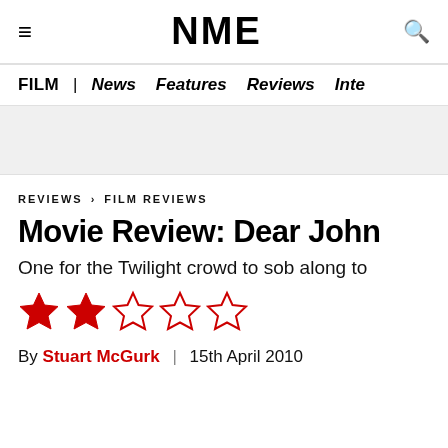NME
FILM | News Features Reviews Inte
REVIEWS › FILM REVIEWS
Movie Review: Dear John
One for the Twilight crowd to sob along to
[Figure (other): 2 out of 5 red stars rating]
By Stuart McGurk | 15th April 2010